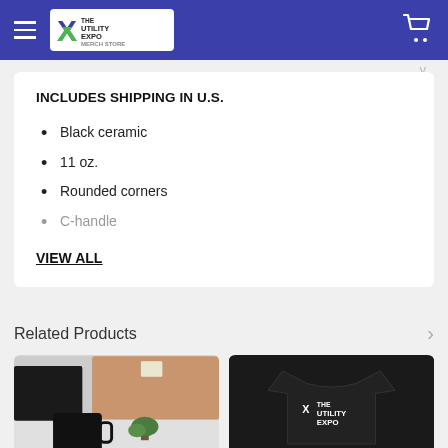The Utility Expo Merch Store
INCLUDES SHIPPING IN U.S.
Black ceramic
11 oz.
Rounded corners
C-handle
VIEW ALL
Related Products
[Figure (photo): Black ceramic mug product photo on desk with corkboard background and small plant]
[Figure (photo): Black t-shirt with The Utility Expo logo in white]